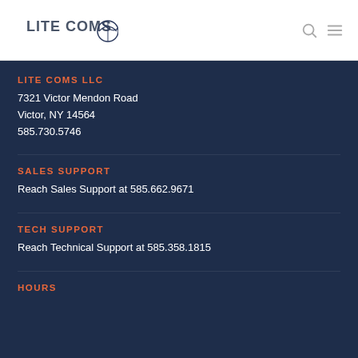[Figure (logo): Lite Coms logo with text and globe/satellite dish icon in dark navy blue]
LITE COMS LLC
7321 Victor Mendon Road
Victor, NY 14564
585.730.5746
SALES SUPPORT
Reach Sales Support at 585.662.9671
TECH SUPPORT
Reach Technical Support at 585.358.1815
HOURS